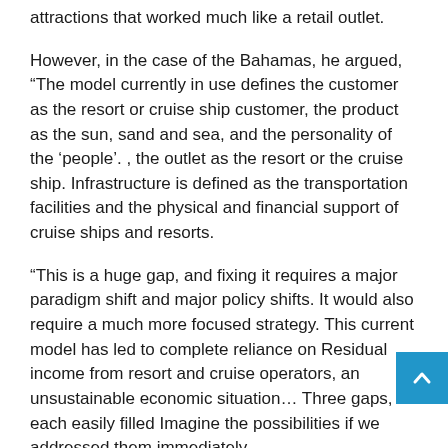attractions that worked much like a retail outlet.
However, in the case of the Bahamas, he argued, “The model currently in use defines the customer as the resort or cruise ship customer, the product as the sun, sand and sea, and the personality of the ‘people’. , the outlet as the resort or the cruise ship. Infrastructure is defined as the transportation facilities and the physical and financial support of cruise ships and resorts.
“This is a huge gap, and fixing it requires a major paradigm shift and major policy shifts. It would also require a much more focused strategy. This current model has led to complete reliance on Residual income from resort and cruise operators, an unsustainable economic situation… Three gaps, each easily filled Imagine the possibilities if we addressed them immediately.
Related Posts:
1. Tourism Australia Marketing Director Reveals Success